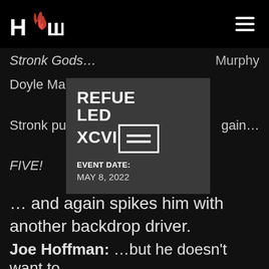HCW (logo) / Navigation
Stronk Gods… Murphy
Doyle Maher
[Figure (other): Popup card showing REFUELED XCVII with hamburger menu icon, EVENT DATE: MAY 8, 2022]
Stronk pulls … gain…
FIVE!
… and again spikes him with another backdrop driver.
Joe Hoffman: …but he doesn't want to.